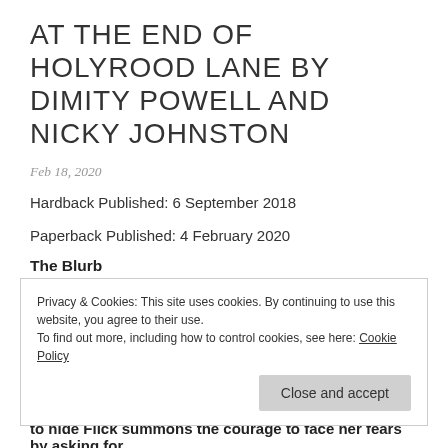AT THE END OF HOLYROOD LANE BY DIMITY POWELL AND NICKY JOHNSTON
Feb 18, 2020
Hardback Published: 6 September 2018
Paperback Published: 4 February 2020
The Blurb
Flick is just like any other youngster. She loves to chase butterflies
Privacy & Cookies: This site uses cookies. By continuing to use this website, you agree to their use.
To find out more, including how to control cookies, see here: Cookie Policy
to hide Flick summons the courage to face her fears by asking for